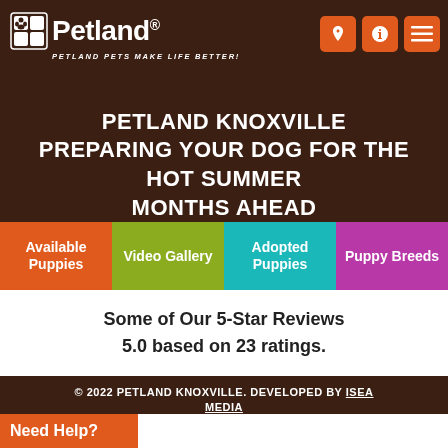Petland — Petland Pets Make Life Better!
PETLAND KNOXVILLE PREPARING YOUR DOG FOR THE HOT SUMMER MONTHS AHEAD
Available Puppies
Video Gallery
Adopted Puppies
Puppy Breeds
Some of Our 5-Star Reviews
5.0 based on 23 ratings.
© 2022 PETLAND KNOXVILLE. DEVELOPED BY ISEA MEDIA
Need Help?